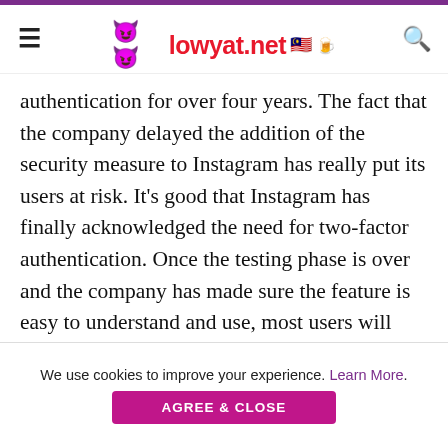lowyat.net
authentication for over four years. The fact that the company delayed the addition of the security measure to Instagram has really put its users at risk. It’s good that Instagram has finally acknowledged the need for two-factor authentication. Once the testing phase is over and the company has made sure the feature is easy to understand and use, most users will then get the feature on their app.
(Source: TechCrunch)
Follow us on Instagram, Facebook, Twitter or Telegram for more updates and breaking news.
We use cookies to improve your experience. Learn More.